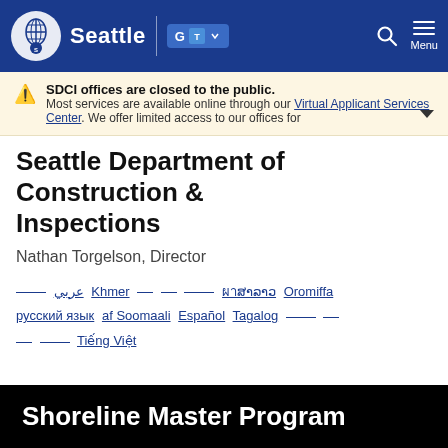Seattle | [Google Translate] | Search | Menu
SDCI offices are closed to the public. Most services are available online through our Virtual Applicant Services Center. We offer limited access to our offices for
Seattle Department of Construction & Inspections
Nathan Torgelson, Director
[language links: Arabic, Khmer, Lao, Oromiffa, русский язык, af Soomaali, Español, Tagalog, Tiếng Việt and others]
Shoreline Master Program